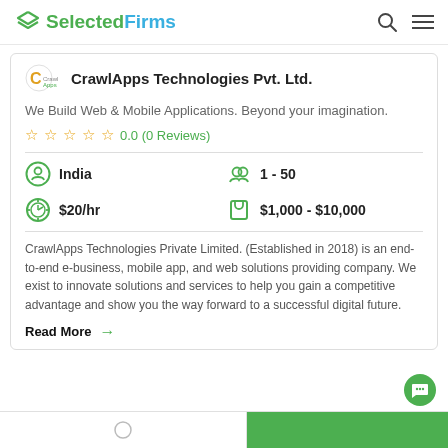SelectedFirms
CrawlApps Technologies Pvt. Ltd.
We Build Web & Mobile Applications. Beyond your imagination.
0.0 (0 Reviews)
India
1 - 50
$20/hr
$1,000 - $10,000
CrawlApps Technologies Private Limited. (Established in 2018) is an end-to-end e-business, mobile app, and web solutions providing company. We exist to innovate solutions and services to help you gain a competitive advantage and show you the way forward to a successful digital future.
Read More